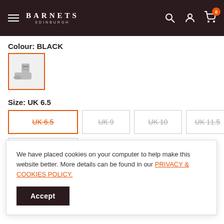BARNETS EDINBURGH
Colour: BLACK
[Figure (photo): Small thumbnail image of a black boot shoe, selected swatch with orange border]
Size: UK 6.5
UK 6.5 (selected, strikethrough, orange border)
UK 9 (strikethrough, grey)
UK 10 (strikethrough, grey)
UK 11.5 (strikethrough, grey)
UK 12.5 (strikethrough, grey)
We have placed cookies on your computer to help make this website better. More details can be found in our PRIVACY & COOKIES POLICY.
Accept